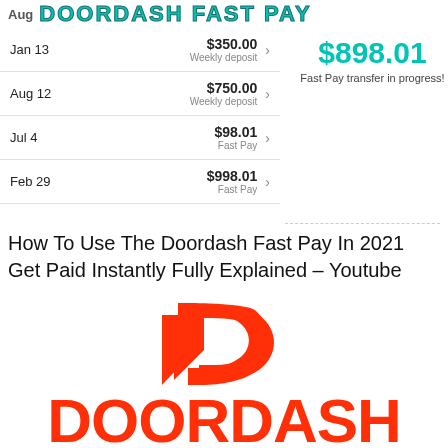Aug DOORDASH FAST PAY
| Date | Amount | Type |
| --- | --- | --- |
| Jan 13 | $350.00 | Weekly deposit |
| Aug 12 | $750.00 | Weekly deposit |
| Jul 4 | $98.01 | Fast Pay |
| Feb 29 | $998.01 | Fast Pay |
$898.01
Fast Pay transfer in progress!
How To Use The Doordash Fast Pay In 2021 Get Paid Instantly Fully Explained – Youtube
[Figure (logo): DoorDash 'D' chevron logo in red/orange]
[Figure (logo): DoorDash wordmark in red/orange]